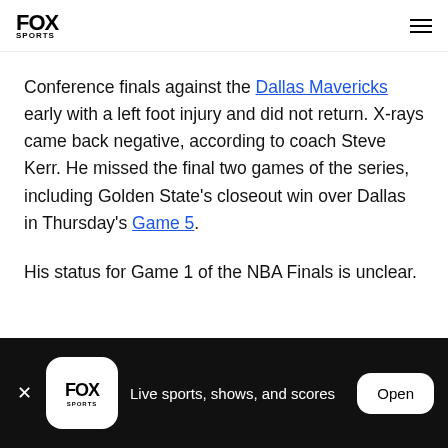FOX SPORTS
Conference finals against the Dallas Mavericks early with a left foot injury and did not return. X-rays came back negative, according to coach Steve Kerr. He missed the final two games of the series, including Golden State's closeout win over Dallas in Thursday's Game 5.
His status for Game 1 of the NBA Finals is unclear.
FOX SPORTS — Live sports, shows, and scores — Open